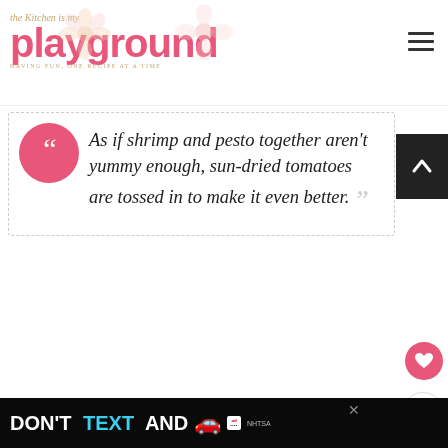The Kitchen is my Playground — HAVING FUN, ONE RECIPE AT A TIME
As if shrimp and pesto together aren't yummy enough, sun-dried tomatoes are tossed in to make it even better.
Not only do I love pizza, I love making pizzas at home -- especially pizzas with fun funky flavor combinations.  Fortunately, my
[Figure (other): What's Next widget showing Avocado & Basil Pasta thumbnail]
[Figure (other): DON'T TEXT AND [car emoji] advertisement banner — NHTSA public safety ad]